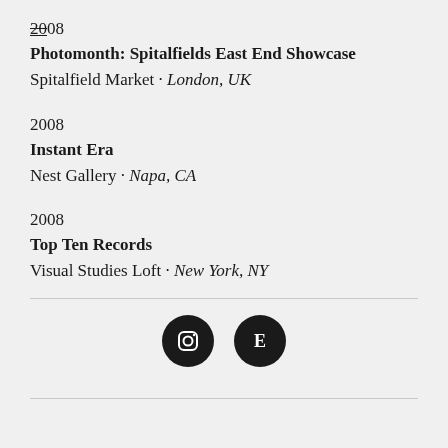2008
Photomonth: Spitalfields East End Showcase
Spitalfield Market · London, UK
2008
Instant Era
Nest Gallery · Napa, CA
2008
Top Ten Records
Visual Studies Loft · New York, NY
[Figure (other): Two circular social media icon buttons on dark background: Instagram (camera icon) and Etsy (E letter icon)]